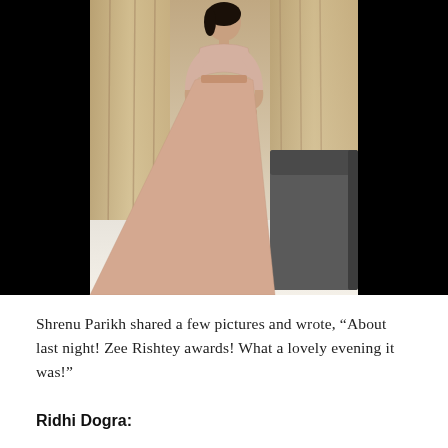[Figure (photo): A woman wearing a light pink embroidered lehenga with a matching jacket stands in a room with beige curtains and a dark leather sofa in the background. The room has a white floor.]
Shrenu Parikh shared a few pictures and wrote, “About last night! Zee Rishtey awards! What a lovely evening it was!”
Ridhi Dogra: